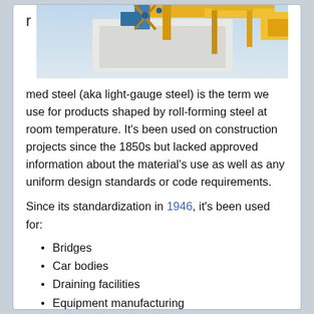[Figure (photo): Construction crane or heavy equipment on a structure, photographed against a light sky. Yellow and blue machinery visible.]
med steel (aka light-gauge steel) is the term we use for products shaped by roll-forming steel at room temperature. It's been used on construction projects since the 1850s but lacked approved information about the material's use as well as any uniform design standards or code requirements.
Since its standardization in 1946, it's been used for:
Bridges
Car bodies
Draining facilities
Equipment manufacturing
Firearms
Grain bins
Highway products